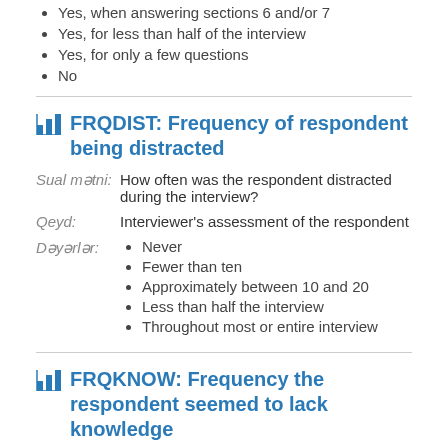Yes, when answering sections 6 and/or 7
Yes, for less than half of the interview
Yes, for only a few questions
No
FRQDIST: Frequency of respondent being distracted
Sual mətni: How often was the respondent distracted during the interview?
Qeyd: Interviewer's assessment of the respondent
Never
Fewer than ten
Approximately between 10 and 20
Less than half the interview
Throughout most or entire interview
FRQKNOW: Frequency the respondent seemed to lack knowledge
Sual mətni: How often did you feel the respondent lacked